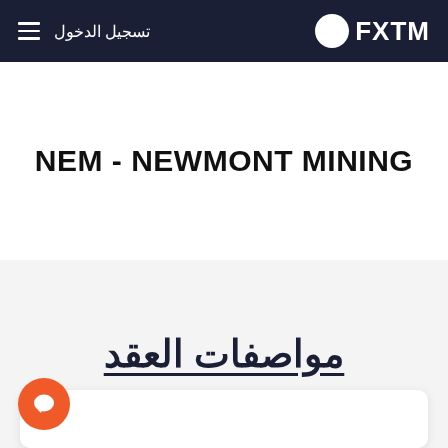تسجيل الدخول | FXTM
NEM - NEWMONT MINING
مواصفات العقد